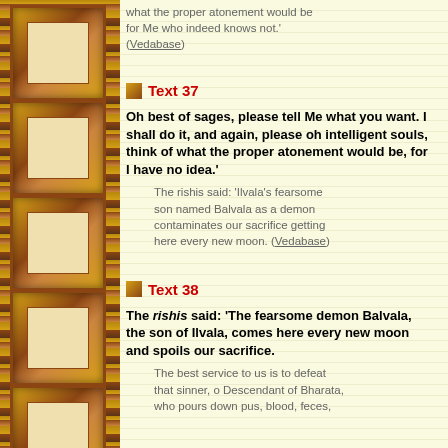what the proper atonement would be for Me who indeed knows not.' (Vedabase)
Text 37
Oh best of sages, please tell Me what you want. I shall do it, and again, please oh intelligent souls, think of what the proper atonement would be, for I have no idea.'
The rishis said: 'Ilvala's fearsome son named Balvala as a demon contaminates our sacrifice getting here every new moon. (Vedabase)
Text 38
The rishis said: 'The fearsome demon Balvala, the son of Ilvala, comes here every new moon and spoils our sacrifice.
The best service to us is to defeat that sinner, o Descendant of Bharata, who pours down pus, blood, feces,